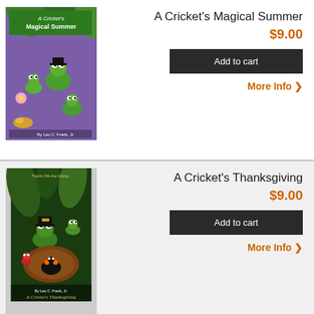[Figure (illustration): Book cover: A Cricket's Magical Summer - cartoon crickets and insects on purple background with green leaves]
A Cricket's Magical Summer
$9.00
Add to cart
More Info
[Figure (illustration): Book cover: A Cricket's Thanksgiving - cartoon crickets and insects in autumn/Thanksgiving scene with brown tones and pilgrim hat]
A Cricket's Thanksgiving
$9.00
Add to cart
More Info